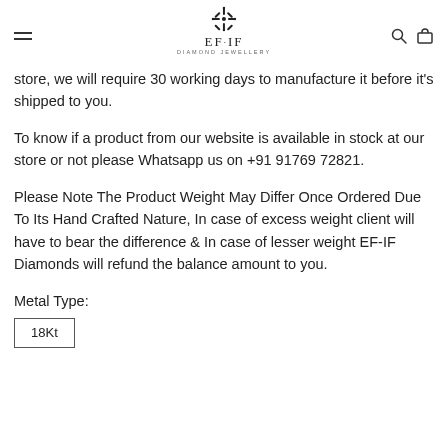EF·IF Diamond Jewellery
store, we will require 30 working days to manufacture it before it's shipped to you.
To know if a product from our website is available in stock at our store or not please Whatsapp us on +91 91769 72821.
Please Note The Product Weight May Differ Once Ordered Due To Its Hand Crafted Nature, In case of excess weight client will have to bear the difference & In case of lesser weight EF-IF Diamonds will refund the balance amount to you.
Metal Type:
18Kt